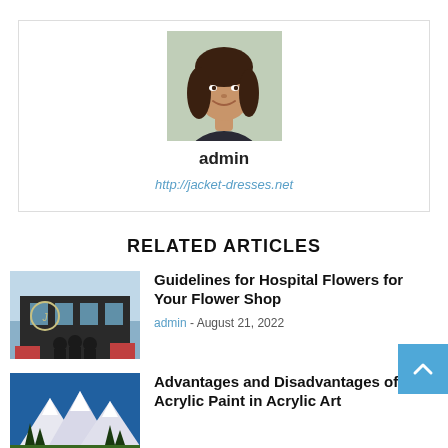[Figure (photo): Profile photo of admin — a woman with dark hair smiling]
admin
http://jacket-dresses.net
RELATED ARTICLES
[Figure (photo): Photo of a flower shop storefront with three women standing in front]
Guidelines for Hospital Flowers for Your Flower Shop
admin - August 21, 2022
[Figure (photo): Painting of snowy mountains]
Advantages and Disadvantages of Acrylic Paint in Acrylic Art